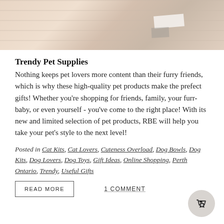[Figure (photo): Close-up photo of a pet bowl or container with beige/tan stripes and white cross pattern, cropped at top]
Trendy Pet Supplies
Nothing keeps pet lovers more content than their furry friends, which is why these high-quality pet products make the prefect gifts! Whether you're shopping for friends, family, your furr-baby, or even yourself - you've come to the right place! With its new and limited selection of pet products, RBE will help you take your pet's style to the next level!
Posted in Cat Kits, Cat Lovers, Cuteness Overload, Dog Bowls, Dog Kits, Dog Lovers, Dog Toys, Gift Ideas, Online Shopping, Perth Ontario, Trendy, Useful Gifts
READ MORE
1 COMMENT